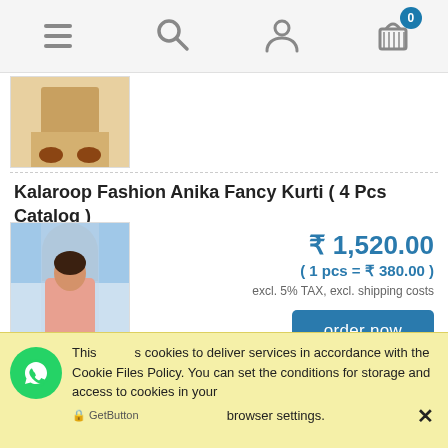Navigation bar with menu, search, user, and cart (0 items) icons
[Figure (photo): Partial product image showing bottom portion of a garment/legs with traditional Indian footwear on a light background]
Kalaroop Fashion Anika Fancy Kurti ( 4 Pcs Catalog )
[Figure (photo): Woman wearing a pink kurti (Indian tunic) with white pants, standing in front of a blue-windowed background]
₹ 1,520.00
( 1 pcs = ₹ 380.00 )
excl. 5% TAX, excl. shipping costs
order now
This uses cookies to deliver services in accordance with the Cookie Files Policy. You can set the conditions for storage and access to cookies in your browser settings. ✕